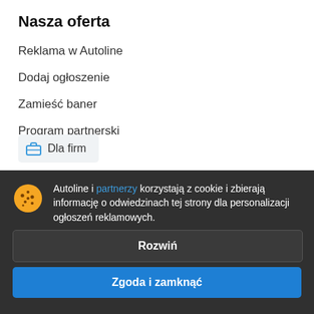Nasza oferta
Reklama w Autoline
Dodaj ogłoszenie
Zamieść baner
Program partnerski
Dla firm
Autoline i partnerzy korzystają z cookie i zbierają informację o odwiedzinach tej strony dla personalizacji ogłoszeń reklamowych.
Rozwiń
Zgoda i zamknąć